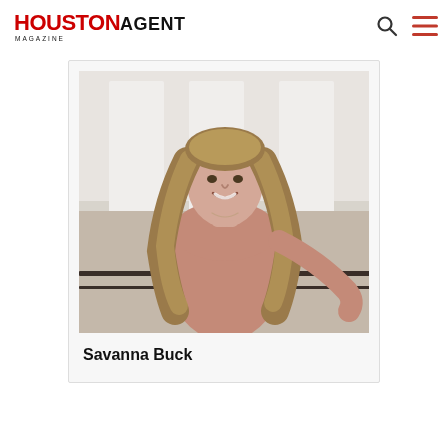HOUSTON AGENT Magazine
[Figure (photo): Portrait photo of Savanna Buck, a woman with long wavy blonde-brown hair, wearing a salmon/dusty rose colored fitted top, standing in front of a white building exterior with black iron railing]
Savanna Buck